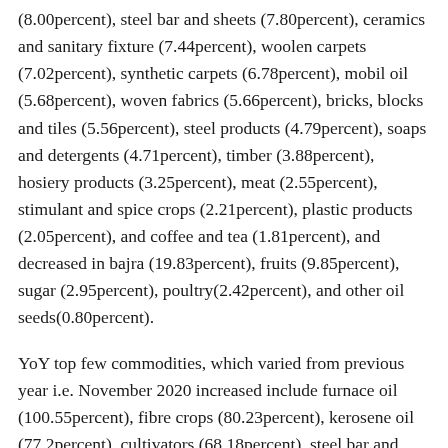(8.00percent), steel bar and sheets (7.80percent), ceramics and sanitary fixture (7.44percent), woolen carpets (7.02percent), synthetic carpets (6.78percent), mobil oil (5.68percent), woven fabrics (5.66percent), bricks, blocks and tiles (5.56percent), steel products (4.79percent), soaps and detergents (4.71percent), timber (3.88percent), hosiery products (3.25percent), meat (2.55percent), stimulant and spice crops (2.21percent), plastic products (2.05percent), and coffee and tea (1.81percent), and decreased in bajra (19.83percent), fruits (9.85percent), sugar (2.95percent), poultry(2.42percent), and other oil seeds(0.80percent).
YoY top few commodities, which varied from previous year i.e. November 2020 increased include furnace oil (100.55percent), fibre crops (80.23percent), kerosene oil (77.2percent), cultivators (68.18percent), steel bar and